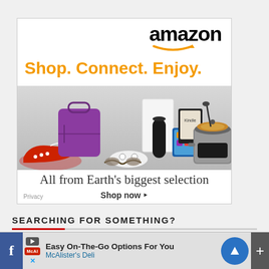[Figure (advertisement): Amazon advertisement banner showing logo, 'Shop. Connect. Enjoy.' tagline in orange, product images (shoes, bag, Xbox controller, Echo, Fire tablet, Kindle, slow cooker), and 'All from Earth's biggest selection' with 'Shop now' call to action. Privacy label in bottom left.]
SEARCHING FOR SOMETHING?
[Figure (screenshot): Partial search bar visible at bottom of main content area]
[Figure (advertisement): Bottom banner ad for McAlister's Deli: 'Easy On-The-Go Options For You' with McAlister's Deli branding, navigation arrow icon, Facebook icon, play button, Twitter/X icon, and plus button]